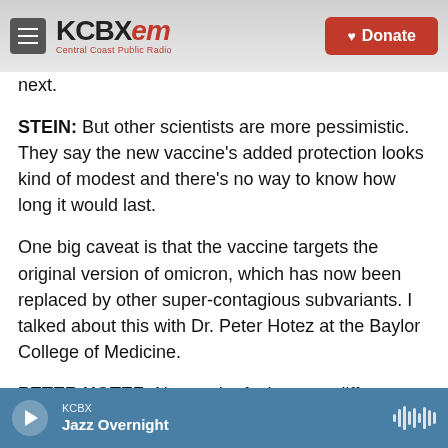KCBX FM — Central Coast Public Radio | Donate
next.
STEIN: But other scientists are more pessimistic. They say the new vaccine's added protection looks kind of modest and there's no way to know how long it would last.
One big caveat is that the vaccine targets the original version of omicron, which has now been replaced by other super-contagious subvariants. I talked about this with Dr. Peter Hotez at the Baylor College of Medicine.
PETER HOTEZ: Now we're facing very different
KCBX — Jazz Overnight